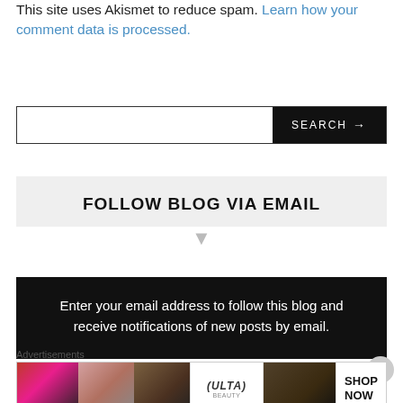This site uses Akismet to reduce spam. Learn how your comment data is processed.
SEARCH →
FOLLOW BLOG VIA EMAIL
Enter your email address to follow this blog and receive notifications of new posts by email.
Advertisements
[Figure (other): Ulta Beauty advertisement banner with cosmetics imagery showing lips, makeup brush, eyes, Ulta logo, and Shop Now button]